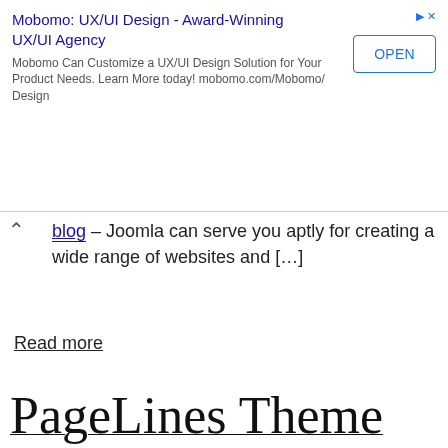[Figure (other): Advertisement banner: Mobomo UX/UI Design - Award-Winning UX/UI Agency with OPEN button]
blog – Joomla can serve you aptly for creating a wide range of websites and […]
Read more
PageLines Theme Review: A Powerful WordPress Framework to Make